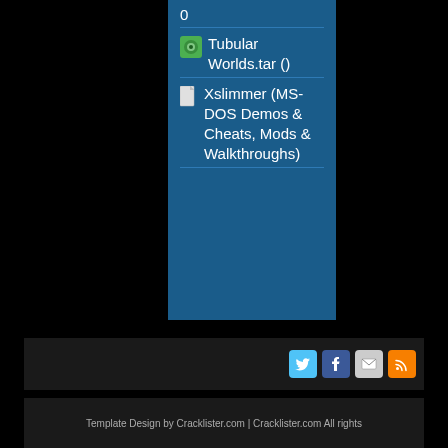0
Tubular Worlds.tar ()
Xslimmer (MS-DOS Demos & Cheats, Mods & Walkthroughs)
Template Design by Cracklister.com | Cracklister.com All rights